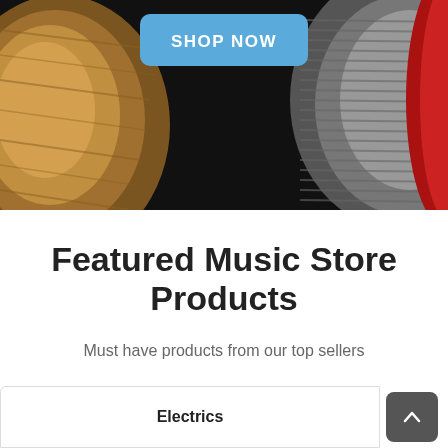[Figure (photo): Hero banner with dark background showing guitar body on the left (wood grain finish) and guitar body on the right (metallic/red finish), with a blue 'SHOP NOW' button centered at the top]
Featured Music Store Products
Must have products from our top sellers
Electrics